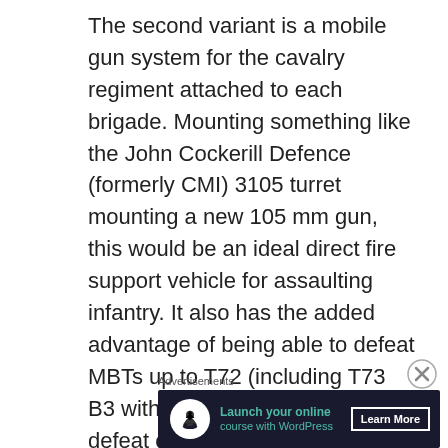The second variant is a mobile gun system for the cavalry regiment attached to each brigade. Mounting something like the John Cockerill Defence (formerly CMI) 3105 turret mounting a new 105 mm gun, this would be an ideal direct fire support vehicle for assaulting infantry. It also has the added advantage of being able to defeat MBTs up to T72 (including T73 B3 with 2-3 hits). It can also defeat other IFVs at longer ranges than a 30 or 40 mm cannon would allow. The Italian Army has recently acquired the Centauro 2 which mounts a 120 mm gun. If such a weapon could be mounted on Boxer, it would be worth
Advertisements
[Figure (other): Advertisement banner for launching online courses with WordPress. Dark background with circular white icon, teal text 'Launch your online course with WordPress' and a 'Learn More' button.]